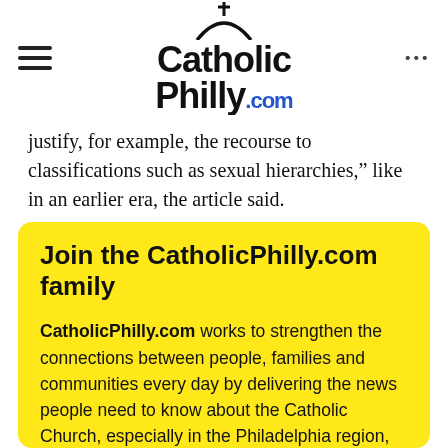CatholicPhilly.com
justify, for example, the recourse to classifications such as sexual hierarchies,” like in an earlier era, the article said.
Join the CatholicPhilly.com family
CatholicPhilly.com works to strengthen the connections between people, families and communities every day by delivering the news people need to know about the Catholic Church, especially in the Philadelphia region, and the world in which we live.